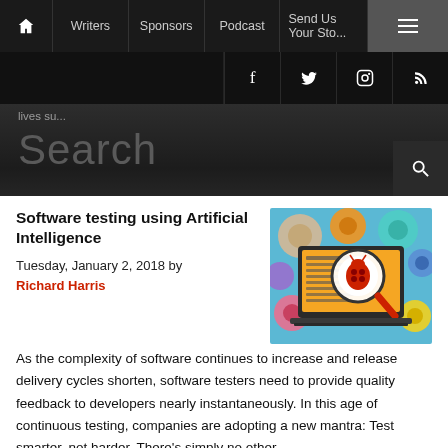Home | Writers | Sponsors | Podcast | Send Us Your Sto...
[Figure (screenshot): Website navigation bar with dark background showing Home icon, Writers, Sponsors, Podcast, Send Us Your Story, and hamburger menu button]
[Figure (screenshot): Social media icons bar with Facebook, Twitter, Instagram, RSS icons on dark background]
lives su...
Search
Software testing using Artificial Intelligence
Tuesday, January 2, 2018 by Richard Harris
[Figure (illustration): Colorful illustration of a laptop with a magnifying glass showing a bug, surrounded by colorful gears on a blue background]
As the complexity of software continues to increase and release delivery cycles shorten, software testers need to provide quality feedback to developers nearly instantaneously. In this age of continuous testing, companies are adopting a new mantra: Test smarter, not harder. There's simply no other